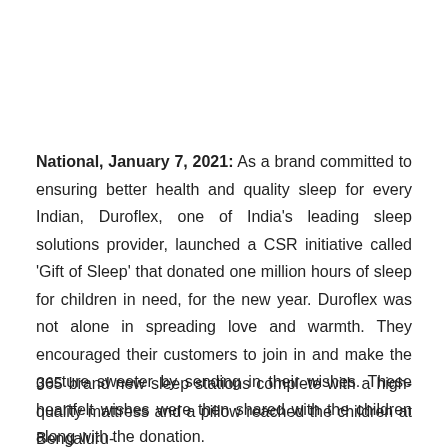National, January 7, 2021: As a brand committed to ensuring better health and quality sleep for every Indian, Duroflex, one of India's leading sleep solutions provider, launched a CSR initiative called 'Gift of Sleep' that donated one million hours of sleep for children in need, for the new year. Duroflex was not alone in spreading love and warmth. They encouraged their customers to join in and make the gesture sweeter by sending in their wishes. These heartfelt wishes were then shared with the children along with the donation.
365 brand new sleep stations complete with a high-quality mattress and a pillow reached the children at Bengaluru-